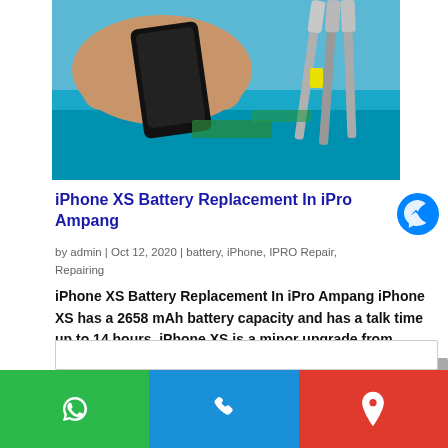[Figure (photo): A hand holding an iPhone in a repair shop, with a blue plastic tray and screwdrivers visible in the background.]
iPhone XS Battery Replacement In iPro Ampang
by admin | Oct 12, 2020 | battery, iPhone, IPRO Repair, Repairing
iPhone XS Battery Replacement In iPro Ampang iPhone XS has a 2658 mAh battery capacity and has a talk time up to 14 hours. iPhone XS is a minor upgrade from iPhone X and has a better battery saving features. A lot of customer do not buy this model because it's...